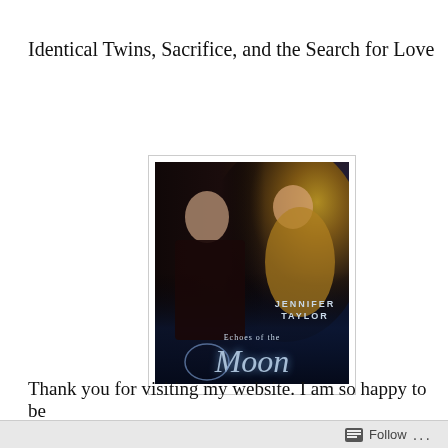Identical Twins, Sacrifice, and the Search for Love
[Figure (photo): Book cover for 'Echoes of the Moon' by Jennifer Taylor. Shows a man in dark clothing on the left and a woman in golden clothing on the right against a dark background. Author name and title text overlay at the bottom.]
Thank you for visiting my website. I am so happy to be
Follow ...